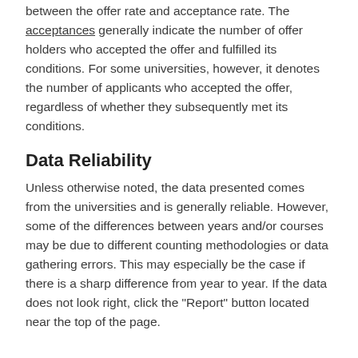between the offer rate and acceptance rate. The acceptances generally indicate the number of offer holders who accepted the offer and fulfilled its conditions. For some universities, however, it denotes the number of applicants who accepted the offer, regardless of whether they subsequently met its conditions.
Data Reliability
Unless otherwise noted, the data presented comes from the universities and is generally reliable. However, some of the differences between years and/or courses may be due to different counting methodologies or data gathering errors. This may especially be the case if there is a sharp difference from year to year. If the data does not look right, click the "Report" button located near the top of the page.